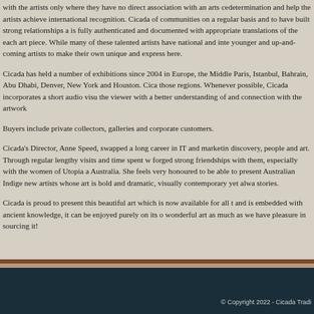with the artists only where they have no direct association with an arts centre, with self-determination and help the artists achieve international recognition. Cicada visits a number of communities on a regular basis and to have built strong relationships and trust. All work is fully authenticated and documented with appropriate translations of the stories behind each art piece. While many of these talented artists have national and international profiles, younger and up-and-coming artists to make their own unique and expressive mark are shown here.
Cicada has held a number of exhibitions since 2004 in Europe, the Middle East and the US - Paris, Istanbul, Bahrain, Abu Dhabi, Denver, New York and Houston. Cicada has exhibitions in those regions. Whenever possible, Cicada incorporates a short audio visual presentation to give the viewer with a better understanding of and connection with the artwork.
Buyers include private collectors, galleries and corporate customers.
Cicada's Director, Anne Speed, swapped a long career in IT and marketing for a passion for discovery, people and art. Through regular lengthy visits and time spent with the artists, she forged strong friendships with them, especially with the women of Utopia and Ernabella in Australia. She feels very honoured to be able to present Australian Indigenous art and to bring new artists whose art is bold and dramatic, visually contemporary yet always connected to their stories.
Cicada is proud to present this beautiful art which is now available for all to appreciate. Whilst and is embedded with ancient knowledge, it can be enjoyed purely on its own terms. We hope wonderful art as much as we have pleasure in sourcing it!
© Copyright 2022 - Cicada Trading